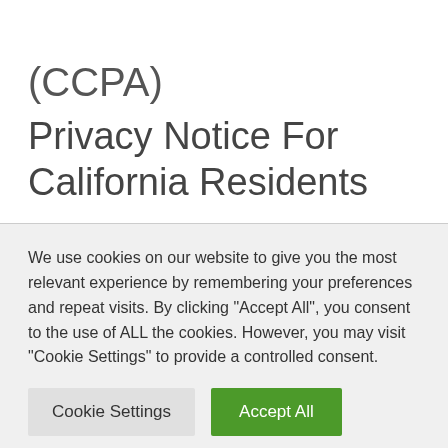(CCPA)
Privacy Notice For California Residents
We use cookies on our website to give you the most relevant experience by remembering your preferences and repeat visits. By clicking "Accept All", you consent to the use of ALL the cookies. However, you may visit "Cookie Settings" to provide a controlled consent.